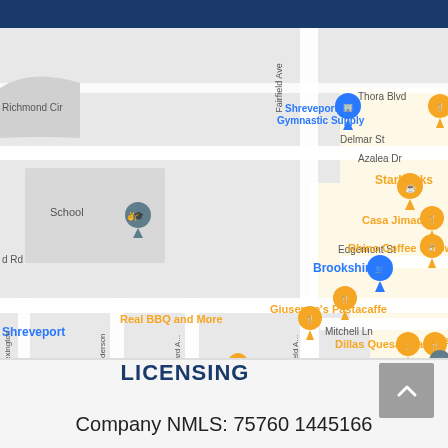[Figure (map): Google Maps screenshot showing area around Shreveport with location pins for Starbucks, Casa Jimador, Rhino Coffee Uptown, Brookshire's, Giuseppe's Pastacaffe, Real BBQ and More, Dillas Quesadillas, Oyster Bar & Grille, Shreveport Gymnastic Supply, and a school. Street labels include Fairfield Ave, Thora Blvd, Azalea Dr, Delmar St, Edgemont St, Mitchell Ln, Lexington, Henderson, Willard Ave.]
LICENSING
Company NMLS: 75760 1445166